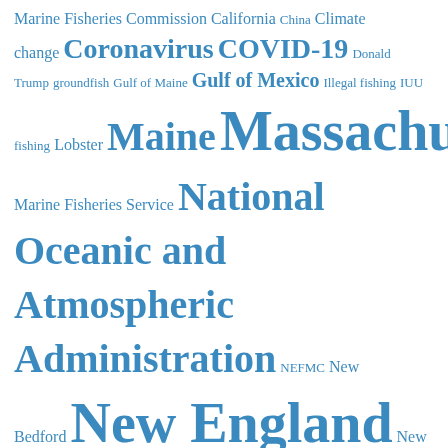[Figure (infographic): Word cloud of fisheries and marine policy terms in blue, with font size indicating frequency/importance. Largest terms: New England, NOAA, Massachusetts Mid-Atlantic, National Oceanic and Atmospheric Administration. Other terms vary in size from small to large.]